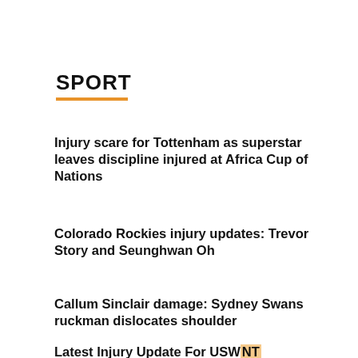SPORT
Injury scare for Tottenham as superstar leaves discipline injured at Africa Cup of Nations
Colorado Rockies injury updates: Trevor Story and Seunghwan Oh
Callum Sinclair damage: Sydney Swans ruckman dislocates shoulder
Latest Injury Update For USWNT